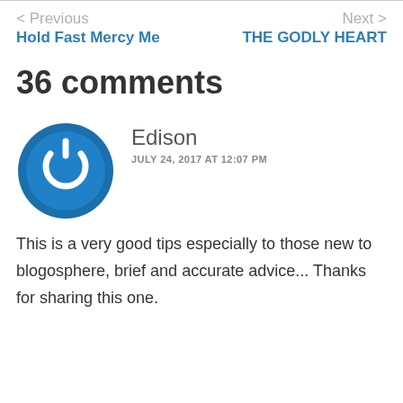< Previous
Hold Fast Mercy Me
Next >
THE GODLY HEART
36 comments
[Figure (illustration): Blue circular power button icon avatar for user Edison]
Edison
JULY 24, 2017 AT 12:07 PM
This is a very good tips especially to those new to blogosphere, brief and accurate advice... Thanks for sharing this one.